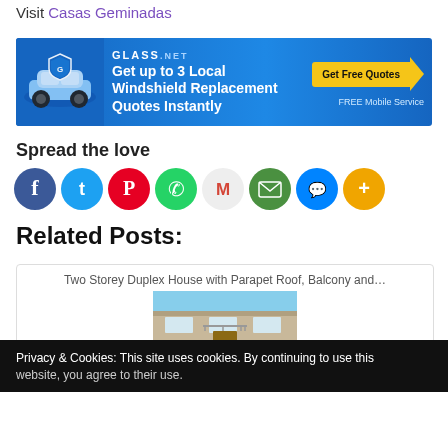Visit Casas Geminadas
[Figure (screenshot): Glass.net advertisement banner: Get up to 3 Local Windshield Replacement Quotes Instantly. Get Free Quotes. FREE Mobile Service.]
Spread the love
[Figure (infographic): Row of social media share icons: Facebook, Twitter, Pinterest, WhatsApp, Gmail, Email, Messenger, More]
Related Posts:
Two Storey Duplex House with Parapet Roof, Balcony and…
[Figure (photo): Photo of a two storey duplex house with parapet roof and balcony]
Privacy & Cookies: This site uses cookies. By continuing to use this website, you agree to their use.